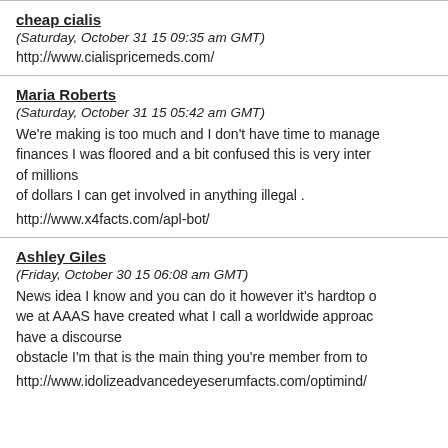cheap cialis
(Saturday, October 31 15 09:35 am GMT)
http://www.cialispricemeds.com/
Maria Roberts
(Saturday, October 31 15 05:42 am GMT)
We're making is too much and I don't have time to manage finances I was floored and a bit confused this is very interesting of millions of dollars I can get involved in anything illegal .
http://www.x4facts.com/apl-bot/
Ashley Giles
(Friday, October 30 15 06:08 am GMT)
News idea I know and you can do it however it's hardtop of we at AAAS have created what I call a worldwide approach have a discourse obstacle I'm that is the main thing you're member from to
http://www.idolizeadvancedeyeserumfacts.com/optimind/